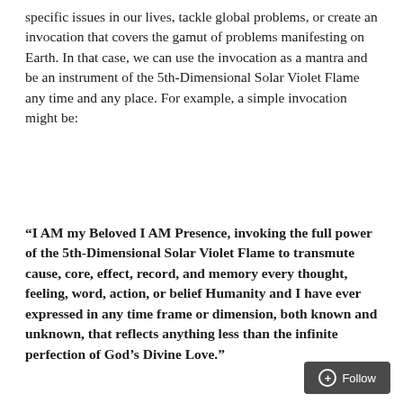specific issues in our lives, tackle global problems, or create an invocation that covers the gamut of problems manifesting on Earth. In that case, we can use the invocation as a mantra and be an instrument of the 5th-Dimensional Solar Violet Flame any time and any place. For example, a simple invocation might be:
“I AM my Beloved I AM Presence, invoking the full power of the 5th-Dimensional Solar Violet Flame to transmute cause, core, effect, record, and memory every thought, feeling, word, action, or belief Humanity and I have ever expressed in any time frame or dimension, both known and unknown, that reflects anything less than the infinite perfection of God’s Divine Love.”